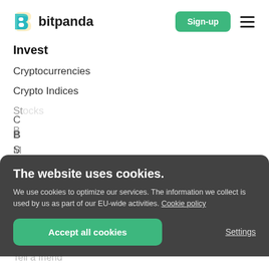[Figure (logo): Bitpanda logo: stylized B icon in teal/yellow, with wordmark 'bitpanda' in bold dark text]
Invest
Cryptocurrencies
Crypto Indices
St...
B...
M...
C...
B...
S...
B...
Tell a friend
The website uses cookies.
We use cookies to optimize our services. The information we collect is used by us as part of our EU-wide activities. Cookie policy
Accept all cookies
Settings